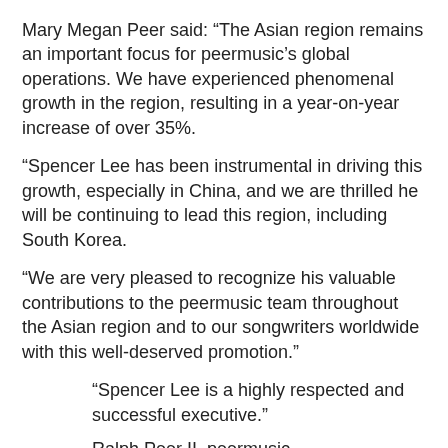Mary Megan Peer said: “The Asian region remains an important focus for peermusic’s global operations. We have experienced phenomenal growth in the region, resulting in a year-on-year increase of over 35%.
“Spencer Lee has been instrumental in driving this growth, especially in China, and we are thrilled he will be continuing to lead this region, including South Korea.
“We are very pleased to recognize his valuable contributions to the peermusic team throughout the Asian region and to our songwriters worldwide with this well-deserved promotion.”
“Spencer Lee is a highly respected and successful executive.”
Ralph Peer II, peermusic
Ralph Peer II, Chair and CEO of peermusic, added: “Spencer Lee is a highly respected and successful executive.